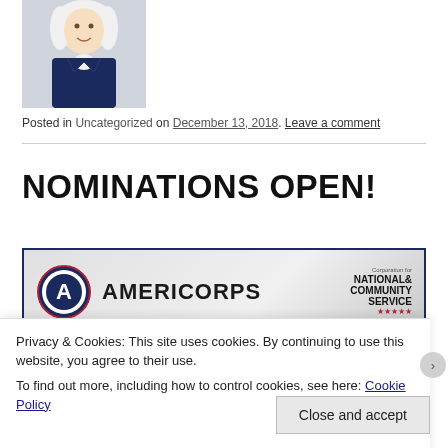[Figure (photo): Avatar image of a person dressed in colonial-era costume (white wig, blue jacket), representing the blog author 'Warpedspeed']
Posted in Uncategorized on December 13, 2018. Leave a comment
NOMINATIONS OPEN!
[Figure (logo): AmeriCorps banner logo with circular A emblem on left, 'AMERICORPS' text in center, and Corporation for National & Community Service logo on right]
Privacy & Cookies: This site uses cookies. By continuing to use this website, you agree to their use.
To find out more, including how to control cookies, see here: Cookie Policy
Close and accept